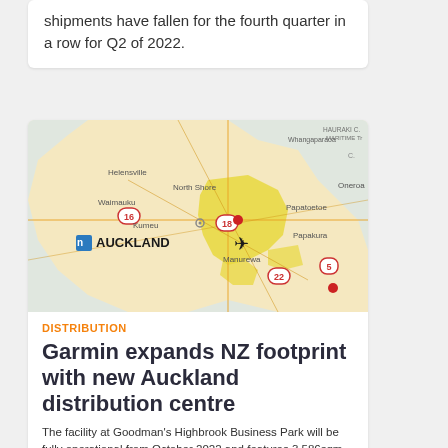shipments have fallen for the fourth quarter in a row for Q2 of 2022.
[Figure (map): Map of Auckland, New Zealand region showing North Shore, Waimauku, Kumeu, Papatoetoe, Papakura, Manurewa areas with road numbers 16, 18, 22, 5 marked. Auckland label with Garmin logo visible. Two red location markers on map.]
DISTRIBUTION
Garmin expands NZ footprint with new Auckland distribution centre
The facility at Goodman's Highbrook Business Park will be fully operational from October 2022 and features 3,586sqm of warehouse space